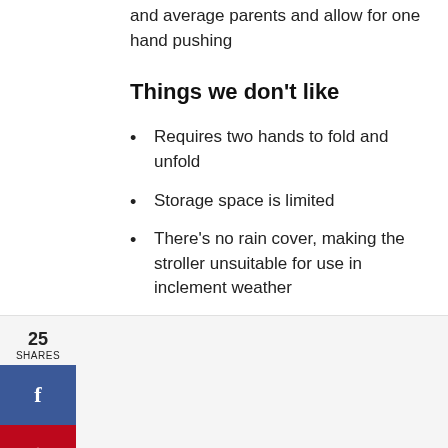and average parents and allow for one hand pushing
Things we don’t like
Requires two hands to fold and unfold
Storage space is limited
There’s no rain cover, making the stroller unsuitable for use in inclement weather
Handles are not adjustable and are too low for taller parents to push comfortably